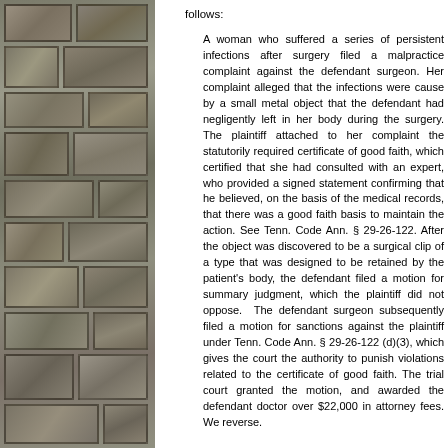follows:
A woman who suffered a series of persistent infections after surgery filed a malpractice complaint against the defendant surgeon. Her complaint alleged that the infections were cause by a small metal object that the defendant had negligently left in her body during the surgery. The plaintiff attached to her complaint the statutorily required certificate of good faith, which certified that she had consulted with an expert, who provided a signed statement confirming that he believed, on the basis of the medical records, that there was a good faith basis to maintain the action. See Tenn. Code Ann. § 29-26-122. After the object was discovered to be a surgical clip of a type that was designed to be retained by the patient's body, the defendant filed a motion for summary judgment, which the plaintiff did not oppose. The defendant surgeon subsequently filed a motion for sanctions against the plaintiff under Tenn. Code Ann. § 29-26-122 (d)(3), which gives the court the authority to punish violations related to the certificate of good faith. The trial court granted the motion, and awarded the defendant doctor over $22,000 in attorney fees. We reverse.